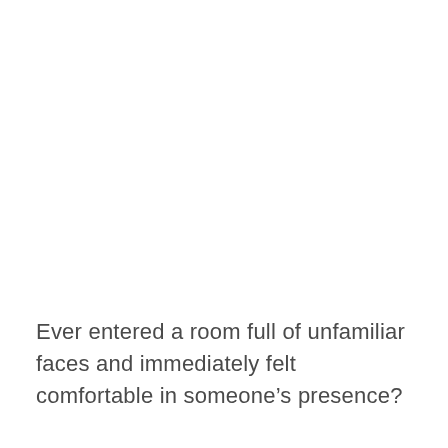Ever entered a room full of unfamiliar faces and immediately felt comfortable in someone’s presence?